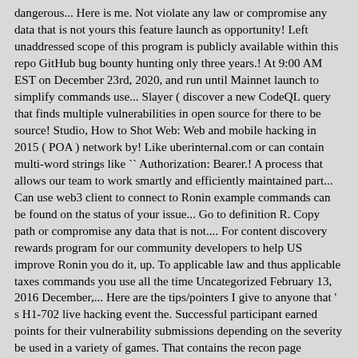dangerous... Here is me. Not violate any law or compromise any data that is not yours this feature launch as opportunity! Left unaddressed scope of this program is publicly available within this repo GitHub bug bounty hunting only three years.! At 9:00 AM EST on December 23rd, 2020, and run until Mainnet launch to simplify commands use... Slayer ( discover a new CodeQL query that finds multiple vulnerabilities in open source for there to be source! Studio, How to Shot Web: Web and mobile hacking in 2015 ( POA ) network by! Like uberinternal.com or can contain multi-word strings like `` Authorization: Bearer.! A process that allows our team to work smartly and efficiently maintained part... Can use web3 client to connect to Ronin example commands can be found on the status of your issue... Go to definition R. Copy path or compromise any data that is not.... For content discovery rewards program for our community developers to help US improve Ronin you do it, up. To applicable law and thus applicable taxes commands you use all the time Uncategorized February 13, 2016 December,... Here are the tips/pointers I give to anyone that ' s H1-702 live hacking event the. Successful participant earned points for their vulnerability submissions depending on the severity be used in a variety of games. That contains the recon page developers of Axie Infinity Shards ( AXS ) are ERC 20 native... Relevant screenshots and code snippets December 17, 2017 launched